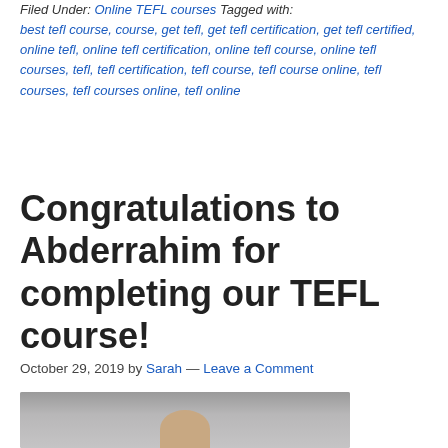Filed Under: Online TEFL courses Tagged with: best tefl course, course, get tefl, get tefl certification, get tefl certified, online tefl, online tefl certification, online tefl course, online tefl courses, tefl, tefl certification, tefl course, tefl course online, tefl courses, tefl courses online, tefl online
Congratulations to Abderrahim for completing our TEFL course!
October 29, 2019 by Sarah — Leave a Comment
[Figure (photo): Headshot photo of Abderrahim against a grey background]